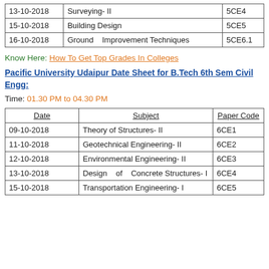| Date | Subject | Paper Code |
| --- | --- | --- |
| 13-10-2018 | Surveying- II | 5CE4 |
| 15-10-2018 | Building Design | 5CE5 |
| 16-10-2018 | Ground Improvement Techniques | 5CE6.1 |
Know Here: How To Get Top Grades In Colleges
Pacific University Udaipur Date Sheet for B.Tech 6th Sem Civil Engg:
Time: 01.30 PM to 04.30 PM
| Date | Subject | Paper Code |
| --- | --- | --- |
| 09-10-2018 | Theory of Structures- II | 6CE1 |
| 11-10-2018 | Geotechnical Engineering- II | 6CE2 |
| 12-10-2018 | Environmental Engineering- II | 6CE3 |
| 13-10-2018 | Design of Concrete Structures- I | 6CE4 |
| 15-10-2018 | Transportation Engineering- I | 6CE5 |